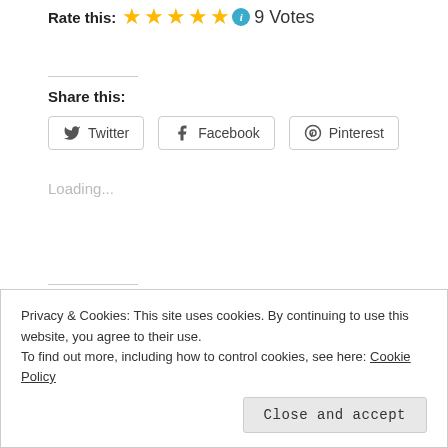Rate this: ★★★★★ ℹ 9 Votes
Share this:
Twitter  Facebook  Pinterest
Loading...
Related
A Tangle of Music
June 29, 2022
A Tangle of Stars
November 14, 2020
Privacy & Cookies: This site uses cookies. By continuing to use this website, you agree to their use.
To find out more, including how to control cookies, see here: Cookie Policy

Close and accept